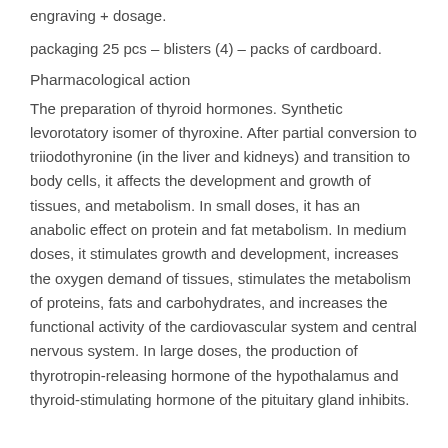engraving + dosage.
packaging 25 pcs – blisters (4) – packs of cardboard.
Pharmacological action
The preparation of thyroid hormones. Synthetic levorotatory isomer of thyroxine. After partial conversion to triiodothyronine (in the liver and kidneys) and transition to body cells, it affects the development and growth of tissues, and metabolism. In small doses, it has an anabolic effect on protein and fat metabolism. In medium doses, it stimulates growth and development, increases the oxygen demand of tissues, stimulates the metabolism of proteins, fats and carbohydrates, and increases the functional activity of the cardiovascular system and central nervous system. In large doses, the production of thyrotropin-releasing hormone of the hypothalamus and thyroid-stimulating hormone of the pituitary gland inhibits.